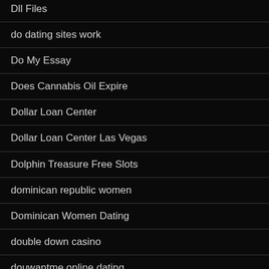Dll Files
do dating sites work
Do My Essay
Does Cannabis Oil Expire
Dollar Loan Center
Dollar Loan Center Las Vegas
Dolphin Treasure Free Slots
dominican republic women
Dominican Women Dating
double down casino
douwantme online dating
Download From Pornhub
dreams casino